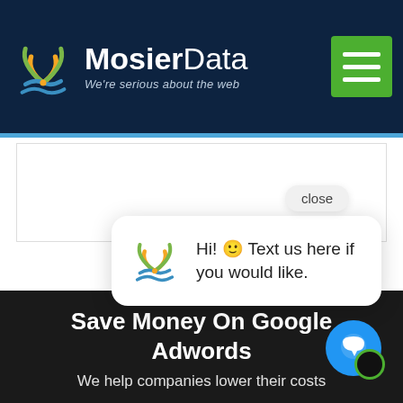[Figure (logo): MosierData logo with colorful WiFi/wave icon. Text reads MosierData with tagline We're serious about the web. Green hamburger menu button in top right.]
[Figure (screenshot): White content box area below blue bar, largely empty white space with thin border.]
← PREVIOUS
[Figure (screenshot): Chat popup with MosierData logo icon and text: Hi! Text us here if you would like. Close bubble above popup. Blue chat circle button bottom right.]
Save Money On Google Adwords
We help companies lower their costs